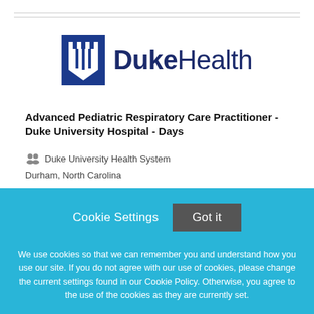[Figure (logo): Duke Health logo with blue shield icon and Duke Health text]
Advanced Pediatric Respiratory Care Practitioner - Duke University Hospital - Days
Duke University Health System
Durham, North Carolina
Cookie Settings
Got it
We use cookies so that we can remember you and understand how you use our site. If you do not agree with our use of cookies, please change the current settings found in our Cookie Policy. Otherwise, you agree to the use of the cookies as they are currently set.